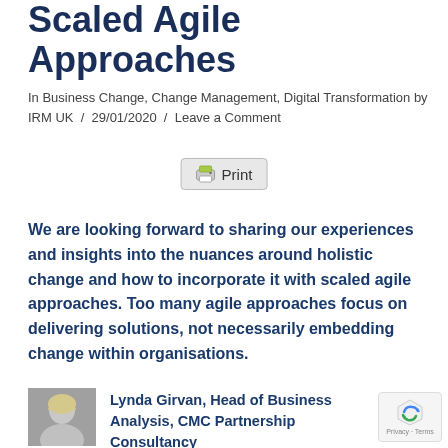Scaled Agile Approaches
In Business Change, Change Management, Digital Transformation by IRM UK / 29/01/2020 / Leave a Comment
[Figure (other): Print button with printer icon]
We are looking forward to sharing our experiences and insights into the nuances around holistic change and how to incorporate it with scaled agile approaches. Too many agile approaches focus on delivering solutions, not necessarily embedding change within organisations.
Lynda Girvan, Head of Business Analysis, CMC Partnership Consultancy
[Figure (photo): Black and white portrait photo of a woman with blonde hair]